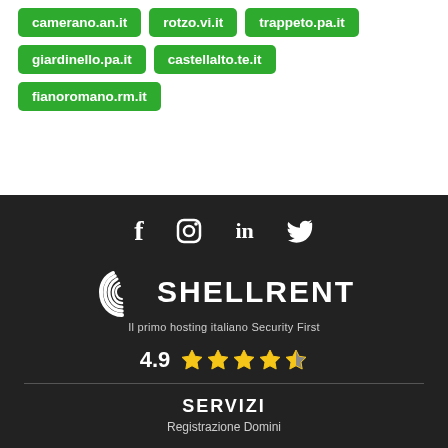camerano.an.it
rotzo.vi.it
trappeto.pa.it
giardinello.pa.it
castellalto.te.it
fianoromano.rm.it
[Figure (logo): Shellrent logo with spiral shell icon, text SHELLRENT and tagline Il primo hosting italiano Security First]
4.9 ★★★★½
SERVIZI
Registrazione Domini